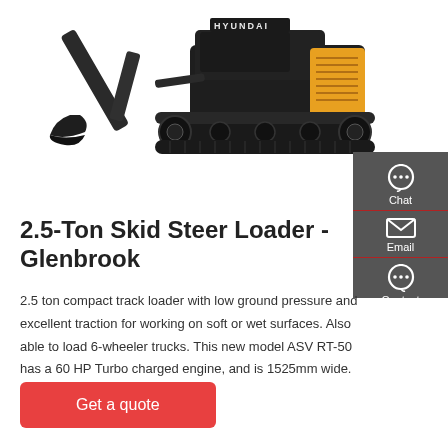[Figure (photo): Yellow and black Hyundai compact track loader / excavator photographed from the side on a white background.]
2.5-Ton Skid Steer Loader - Glenbrook
2.5 ton compact track loader with low ground pressure and excellent traction for working on soft or wet surfaces. Also able to load 6-wheeler trucks. This new model ASV RT-50 has a 60 HP Turbo charged engine, and is 1525mm wide.